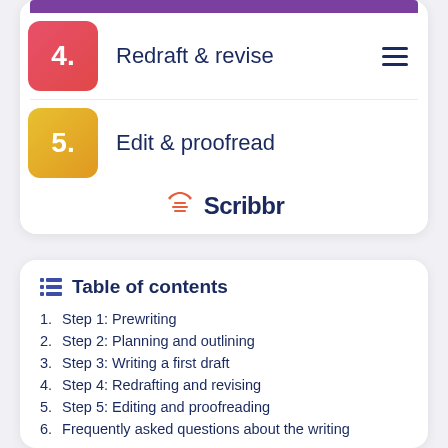[Figure (infographic): Steps 4 and 5 of a writing process infographic. Step 4 (red box): 'Redraft & revise' with hamburger menu icon. Step 5 (gold box): 'Edit & proofread'. Scribbr logo at bottom.]
Table of contents
1. Step 1: Prewriting
2. Step 2: Planning and outlining
3. Step 3: Writing a first draft
4. Step 4: Redrafting and revising
5. Step 5: Editing and proofreading
6. Frequently asked questions about the writing